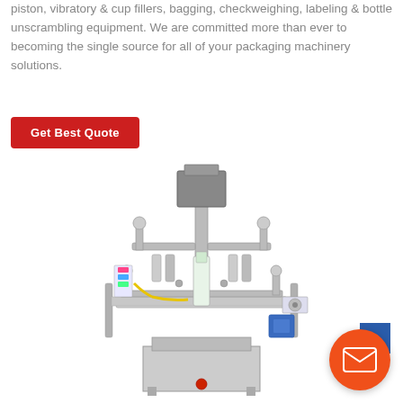piston, vibratory & cup fillers, bagging, checkweighing, labeling & bottle unscrambling equipment. We are committed more than ever to becoming the single source for all of your packaging machinery solutions.
[Figure (other): Red button labeled 'Get Best Quote']
[Figure (photo): Photo of an industrial labeling machine — a bottle labeling/unscrambling machine with metal frame, rollers, adjustable arms, and various mechanical components including a motor and control panel.]
[Figure (other): Email contact button (orange circle with white envelope icon) in the bottom-right corner of the page.]